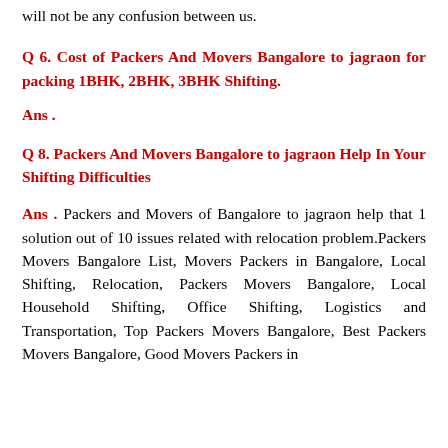will not be any confusion between us.
Q 6. Cost of Packers And Movers Bangalore to jagraon for packing 1BHK, 2BHK, 3BHK Shifting.
Ans .
Q 8. Packers And Movers Bangalore to jagraon Help In Your Shifting Difficulties
Ans . Packers and Movers of Bangalore to jagraon help that 1 solution out of 10 issues related with relocation problem.Packers Movers Bangalore List, Movers Packers in Bangalore, Local Shifting, Relocation, Packers Movers Bangalore, Local Household Shifting, Office Shifting, Logistics and Transportation, Top Packers Movers Bangalore, Best Packers Movers Bangalore, Good Movers Packers in